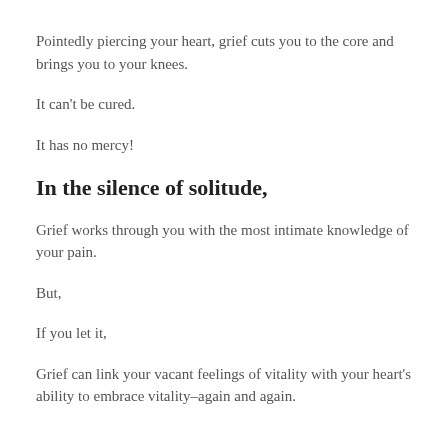Pointedly piercing your heart, grief cuts you to the core and brings you to your knees.
It can't be cured.
It has no mercy!
In the silence of solitude,
Grief works through you with the most intimate knowledge of your pain.
But,
If you let it,
Grief can link your vacant feelings of vitality with your heart's ability to embrace vitality–again and again.